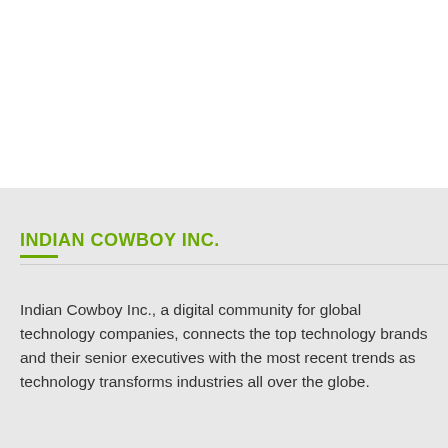INDIAN COWBOY INC.
Indian Cowboy Inc., a digital community for global technology companies, connects the top technology brands and their senior executives with the most recent trends as technology transforms industries all over the globe.